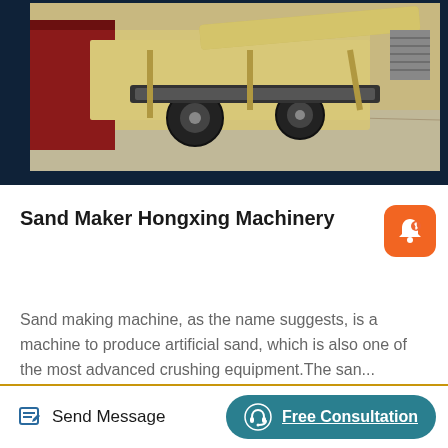[Figure (photo): Industrial sand making machine / crusher equipment photographed in a workshop setting. Machine is light yellow/cream colored with large black wheels and belt conveyor components, on a concrete floor next to a red machine cabinet.]
Sand Maker Hongxing Machinery
Sand making machine, as the name suggests, is a machine to produce artificial sand, which is also one of the most advanced crushing equipment.The san...
Read More
Send Message   Free Consultation